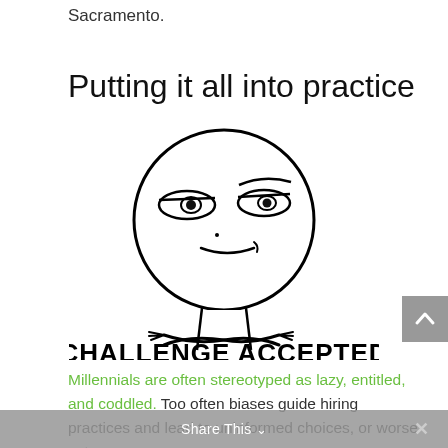Sacramento.
Putting it all into practice
[Figure (illustration): Challenge Accepted meme image: a smirking stick-figure face with droopy eyes above the bold text CHALLENGE ACCEPTED]
Millennials are often stereotyped as lazy, entitled, and coddled. Too often biases guide hiring practices and lead to uninformed choices, or worse yet,
Share This ∨   ×